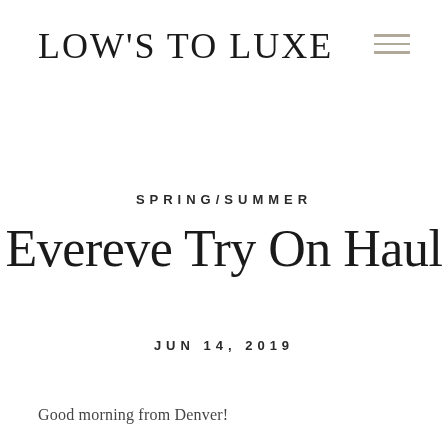LOWS TO LUXE
SPRING/SUMMER
Evereve Try On Haul
JUN 14, 2019
Good morning from Denver!